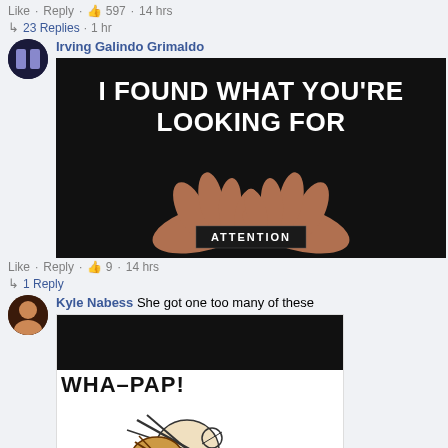Like · Reply · 597 · 14 hrs
23 Replies · 1 hr
Irving Galindo Grimaldo
[Figure (photo): Meme image with black background showing two hands cupped together holding the word ATTENTION, with text at top reading 'I FOUND WHAT YOU'RE LOOKING FOR']
Like · Reply · 9 · 14 hrs
1 Reply
Kyle Nabess She got one too many of these
[Figure (illustration): Comic meme image with black top section and white bottom section. Text reads 'WHA-PAP!' with a cartoon drawing of a character being slapped.]